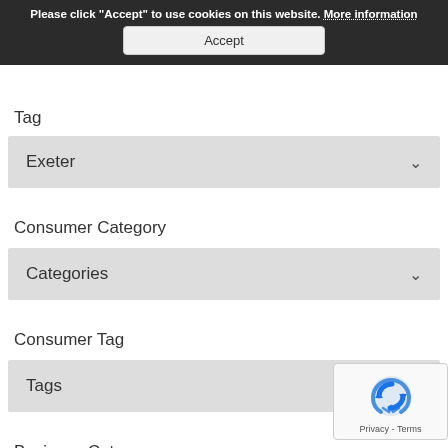All Categories
Please click "Accept" to use cookies on this website. More information
Accept
Tag
Exeter
Consumer Category
Categories
Consumer Tag
Tags
Business Category
Categories
Business Tag